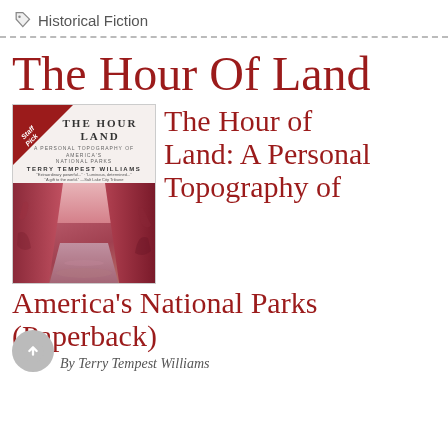Historical Fiction
The Hour Of Land
[Figure (photo): Book cover of 'The Hour of Land' by Terry Tempest Williams with a Staff Pick ribbon. Shows canyon imagery in pink/red tones.]
The Hour of Land: A Personal Topography of America's National Parks (Paperback)
By Terry Tempest Williams